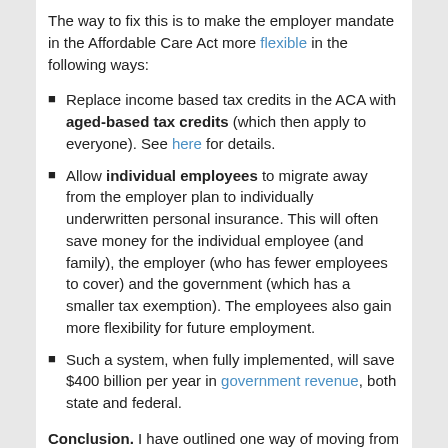The way to fix this is to make the employer mandate in the Affordable Care Act more flexible in the following ways:
Replace income based tax credits in the ACA with aged-based tax credits (which then apply to everyone). See here for details.
Allow individual employees to migrate away from the employer plan to individually underwritten personal insurance. This will often save money for the individual employee (and family), the employer (who has fewer employees to cover) and the government (which has a smaller tax exemption). The employees also gain more flexibility for future employment.
Such a system, when fully implemented, will save $400 billion per year in government revenue, both state and federal.
Conclusion. I have outlined one way of moving from the defined benefit healthcare system we have now to a defined contribution system which will save hundreds of